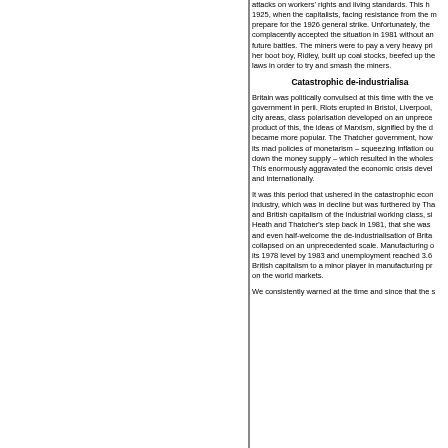attacks on workers' rights and living standards. This happened in 1925, when the capitalists, facing resistance from the miners, had to prepare for the 1926 general strike. Unfortunately, the miners complacently accepted the situation in 1981 without any preparation for future battles. The miners were to pay a very heavy price as Thatcher, her boot boy, Ridley, built up coal stocks, beefed up the police and changed laws in order to try and smash the miners.
Catastrophic de-industrialisation
Britain was politically convulsed at this time with the very existence of government in peril. Riots erupted in Bristol, Liverpool, and other inner city areas, class polarisation developed on an unprecedented scale. As a product of this, the ideas of Marxism, signified by the d became more popular. The Thatcher government, however, persevered with its mad policies of monetarism – squeezing inflation out of the economy by down the money supply – which resulted in the wholesale collapse of industry. This enormously aggravated the economic crisis developing nationally and internationally.
It was this period that ushered in the catastrophic economic decline of industry, which was in decline but was furthered by Thatcher. It was Thatcher and British capitalism of the industrial working class, signified by the Heath and Thatcher's step back in 1981, that she was subsequently prepared to and even half-welcome the de-industrialisation of Britain. Manufacturing collapsed on an unprecedented scale. Manufacturing output fell to below its 1978 level by 1983 and unemployment reached 3.6 million. This reduced British capitalism to a minor player in manufacturing production and trade on the world markets.
We consistently warned at the time and since that the s